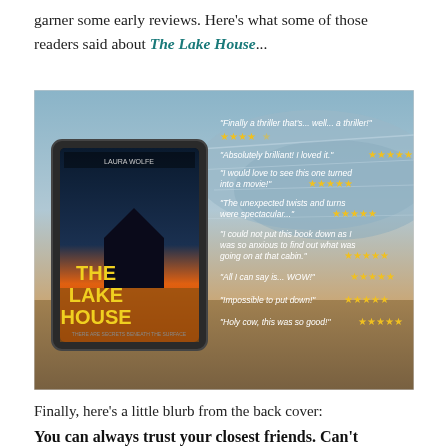garner some early reviews. Here's what some of those readers said about The Lake House...
[Figure (photo): Promotional image for 'The Lake House' by Laura Wolfe showing a tablet displaying the book cover (a lake house at sunset) against a beach/water background. Multiple reader review quotes with yellow star ratings are overlaid on the right side of the image. Quotes include: 'Finally a thriller that's... well... a thriller!' (4.5 stars), 'Absolutely brilliant! I loved it.' (5 stars), 'I would love to see this one turned into a movie!' (5 stars), 'The unexpected twists and turns were spectacular...' (5 stars), 'I could not put this book down as I was so anxious to find out what was going on at that cabin.' (5 stars), 'All I can say is... WOW!' (5 stars), 'Impossible to put down!' (5 stars), 'Holy cow, this was so good!' (5 stars).]
Finally, here's a little blurb from the back cover:
You can always trust your closest friends. Can't